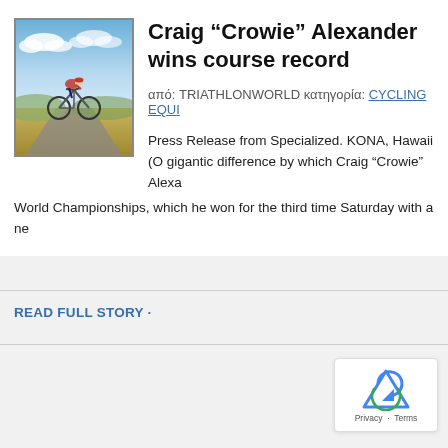[Figure (photo): A cyclist racing on a road bicycle, wearing red and white kit, with blue sky and hills in the background.]
Craig “Crowie” Alexander wins course record
από: TRIATHLONWORLD κατηγορία: CYCLING EQUI
Press Release from Specialized. KONA, Hawaii (O gigantic difference by which Craig “Crowie” Alexa World Championships, which he won for the third time Saturday with a ne
READ FULL STORY ·